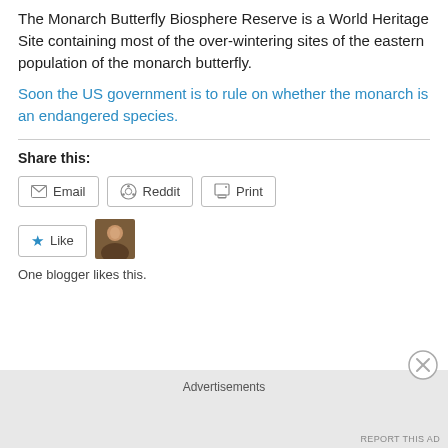The Monarch Butterfly Biosphere Reserve is a World Heritage Site containing most of the over-wintering sites of the eastern population of the monarch butterfly.
Soon the US government is to rule on whether the monarch is an endangered species.
Share this:
Email  Reddit  Print
Like  One blogger likes this.
Advertisements  REPORT THIS AD